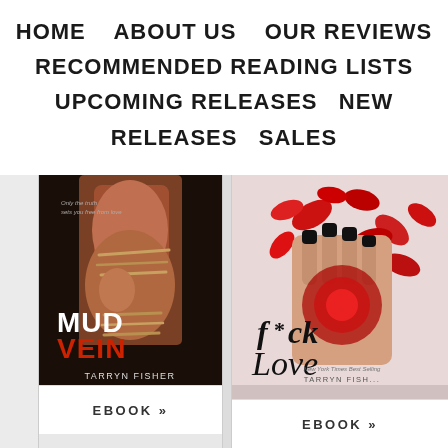HOME   ABOUT US   OUR REVIEWS   RECOMMENDED READING LISTS   UPCOMING RELEASES   NEW RELEASES   SALES
[Figure (photo): Book cover for 'Mud Vein' by Tarryn Fisher — dark cover showing a woman bound with rope, title text 'MUD VEIN' in bold white/red letters, author name at bottom]
EBOOK »
[Figure (photo): Book cover for 'F*ck Love' by Tarryn Fisher — cover with red rose petals and stylized hand with dark nail polish, title text 'f*ck Love' in cursive/brush script, partially cropped]
EBOOK »